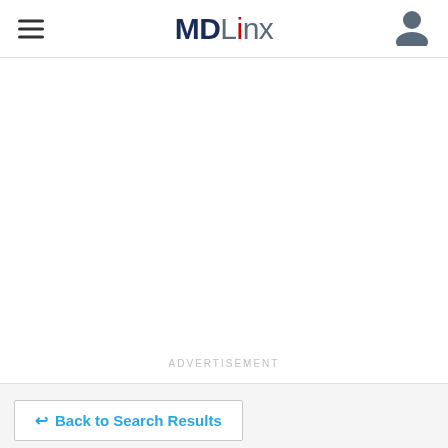MDLinx
ADVERTISEMENT
Back to Search Results